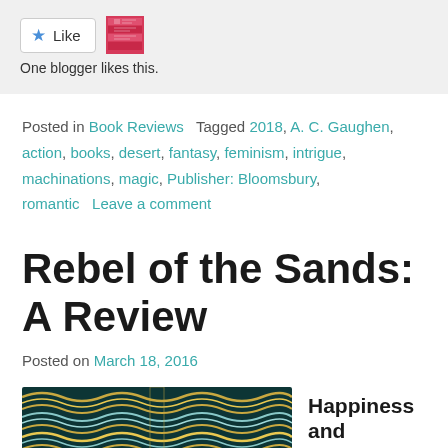[Figure (other): Like button with star icon and a blogger avatar thumbnail, showing social like widget]
One blogger likes this.
Posted in Book Reviews   Tagged 2018, A. C. Gaughen, action, books, desert, fantasy, feminism, intrigue, machinations, magic, Publisher: Bloomsbury, romantic   Leave a comment
Rebel of the Sands: A Review
Posted on March 18, 2016
[Figure (illustration): Swirling decorative book cover art with teal and gold wave patterns]
Happiness and